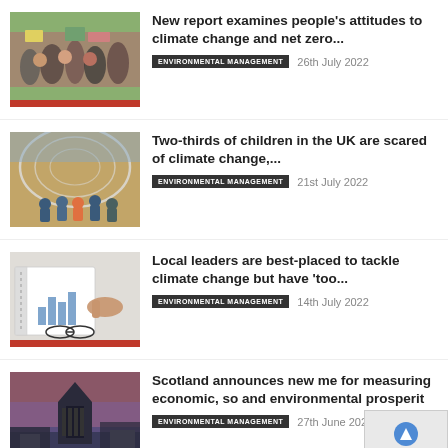[Figure (photo): People at a climate protest holding signs]
New report examines people's attitudes to climate change and net zero...
ENVIRONMENTAL MANAGEMENT   26th July 2022
[Figure (photo): Children sitting inside a greenhouse dome structure]
Two-thirds of children in the UK are scared of climate change,...
ENVIRONMENTAL MANAGEMENT   21st July 2022
[Figure (photo): Person pointing at charts and graphs on paper, with glasses nearby]
Local leaders are best-placed to tackle climate change but have 'too...
ENVIRONMENTAL MANAGEMENT   14th July 2022
[Figure (photo): Edinburgh cityscape at dusk with monument silhouette]
Scotland announces new me for measuring economic, so and environmental prosperit
ENVIRONMENTAL MANAGEMENT   27th June 2022